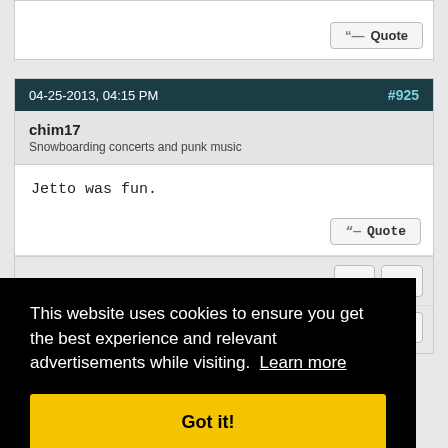[partial post content above]
Quote
04-25-2013, 04:15 PM  #925
chim17
Snowboarding concerts and punk music
Jetto was fun.
Quote
»
...
↑ Top
This website uses cookies to ensure you get the best experience and relevant advertisements while visiting. Learn more
Got it!